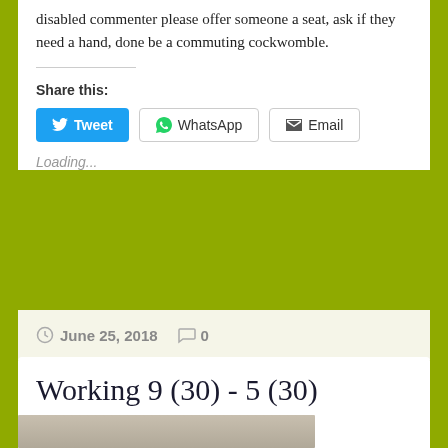disabled commenter please offer someone a seat, ask if they need a hand, done be a commuting cockwomble.
Share this:
Tweet  WhatsApp  Email
Loading...
June 25, 2018  0
Working 9 (30) - 5 (30)
[Figure (photo): A photo strip at the bottom of the card, showing a partial person image]